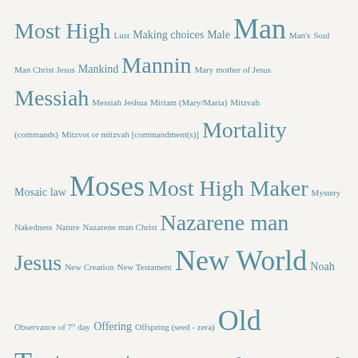[Figure (infographic): Tag cloud / word cloud of religious and theological terms with varying font sizes indicating relative frequency or importance. Terms include Most High, Man, Moses, New World, Old Testament, Only One God, Original sin, Relationship between God and man, Satan, Saviour Jesus, Seed, and many others.]